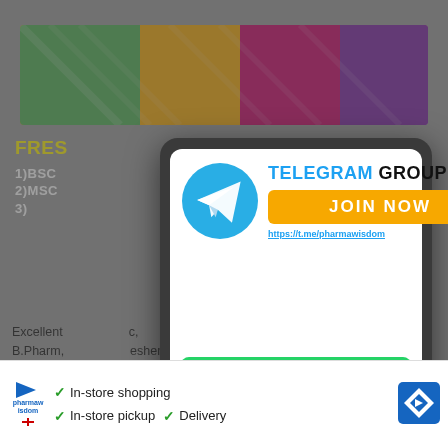[Figure (screenshot): Background page showing pharmaceutical job recruitment content with colorful banner, text about BSC, MSC qualifications and experience, overlaid by a popup modal for Telegram and WhatsApp group join prompts, with a bottom ad bar showing store shopping options.]
FRES... NCE (API)
1)BSC N[2-5YRS
2)MSC
3)...
Excellent ... c, B.Pharm, ... eshers and Expe... C / QA / R&D / AR... Futurelife...
[Figure (infographic): Telegram group join popup with Telegram logo, JOIN NOW orange button, and link https://t.me/pharmawisdom]
[Figure (infographic): WhatsApp group join green button with WhatsApp logo, text JOIN OUR WHATSAPP GROUP NOW and hand icon]
[Figure (infographic): Red X close button at bottom right of popup]
TELEGRAM GROUP
JOIN NOW
https://t.me/pharmawisdom
JOIN OUR WHATSAPP GROUP NOW
✓ In-store shopping
✓ In-store pickup  ✓ Delivery